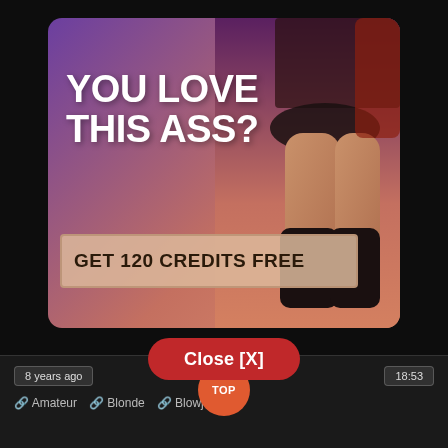[Figure (illustration): Adult advertisement popup showing large bold white text 'YOU LOVE THIS ASS?' on a purple-to-peach gradient background with a stylized figure image on the right side, and a button reading 'GET 120 CREDITS FREE']
Close [X]
8 years ago
TOP
18:53
Amateur   Blonde   Blowjob   ...